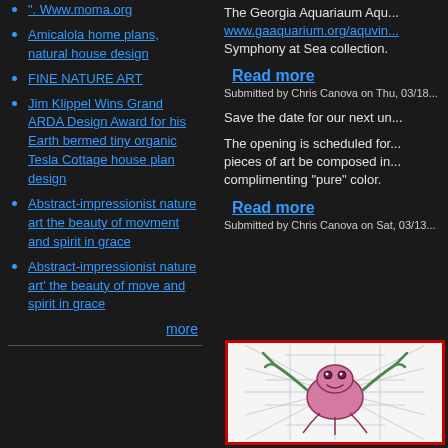". Www.moma.org
Amicalola home plans, natural house design
FINE NATURE ART
Jim Klippel Wins Grand ARDA Design Award for his Earth bermed tiny organic Tesla Cottage house plan design
Abstract-impressionist nature art the beauty of movment and spirit in grace
Abstract-impressionist nature art' the beauty of move and spirit in grace
more
The Georgia Aquariaum Aqu... www.gaaquarium.org/aquvin... Symphony at Sea collection.
Read more
Submitted by Chris Canova on Thu, 03/18...
Save the date for our next un...
The opening is scheduled for... pieces of art be composed in... complimenting "pure" color.
Read more
Submitted by Chris Canova on Sat, 03/13...
[Figure (illustration): Cartoon illustration of a pink crab-like creature with claws against a web background, inside a red-bordered frame]